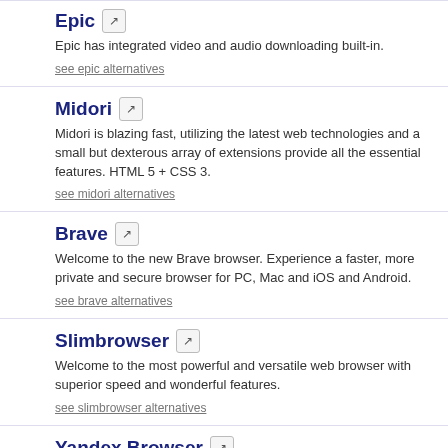Epic
Epic has integrated video and audio downloading built-in.
see epic alternatives
Midori
Midori is blazing fast, utilizing the latest web technologies and a small but dexterous array of extensions provide all the essential features. HTML 5 + CSS 3.
see midori alternatives
Brave
Welcome to the new Brave browser. Experience a faster, more private and secure browser for PC, Mac and iOS and Android.
see brave alternatives
Slimbrowser
Welcome to the most powerful and versatile web browser with superior speed and wonderful features.
see slimbrowser alternatives
Yandex Browser
The quick and secure browser from Yandex for computers, as well as smartphones and tablets on Android and iOS (iPhone and iPad).
see yandex browser alternatives
Waterfoxproject